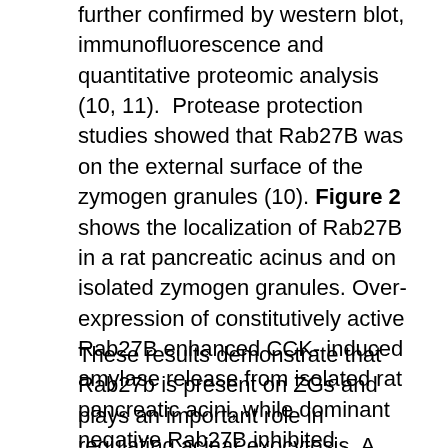further confirmed by western blot, immunofluorescence and quantitative proteomic analysis (10, 11). Protease protection studies showed that Rab27B was on the external surface of the zymogen granules (10). Figure 2 shows the localization of Rab27B in a rat pancreatic acinus and on isolated zymogen granules. Over-expression of constitutively active Rab27B enhanced CCK- induced amylase release from isolated rat pancreatic acini, while dominant negative Rab27B inhibited amylase release (9).
These results demonstrate that Rab27b is present on ZGs and plays an important role in regulating acinar exocytosis. A recent publication showed that Rab27A is present in pancreatic acinar cells and is also required for digestive enzyme secretion (29). Expression of Rab27A in purified acini was detected by RT-PCR and Western blot; Rab27A showed partial